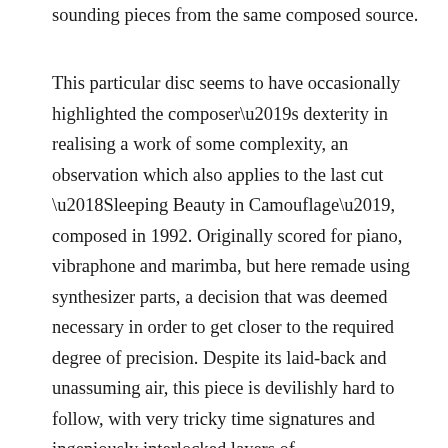sounding pieces from the same composed source.
This particular disc seems to have occasionally highlighted the composer's dexterity in realising a work of some complexity, an observation which also applies to the last cut 'Sleeping Beauty in Camouflage', composed in 1992. Originally scored for piano, vibraphone and marimba, but here remade using synthesizer parts, a decision that was deemed necessary in order to get closer to the required degree of precision. Despite its laid-back and unassuming air, this piece is devilishly hard to follow, with very tricky time signatures and ingeniously interlocked layers of instrumentation. At one level, it's a more user-friendly and less bombastic take on what Frank Zappa was trying to do, especially with material like the 'Black Page'. The compositional density here